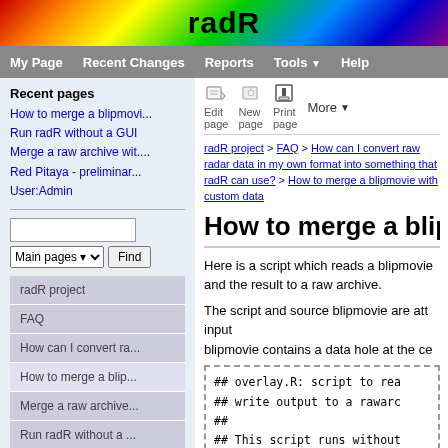[Figure (logo): radR project banner with colorful heat-map style background and bold 'radR' text]
My Page | Recent Changes | Reports | Tools | Help
Recent pages
How to merge a blipmovi...
Run radR without a GUI
Merge a raw archive wit....
Red Pitaya - preliminar...
User:Admin
radR project > FAQ > How can I convert raw radar data in my own format into something that radR can use? > How to merge a blipmovie with custom data
How to merge a blipm
Here is a script which reads a blipmovie and the result to a raw archive.
The script and source blipmovie are att input blipmovie contains a data hole at the ce
## overlay.R: script to rea
## write output to a rawarc
##
## This script runs without